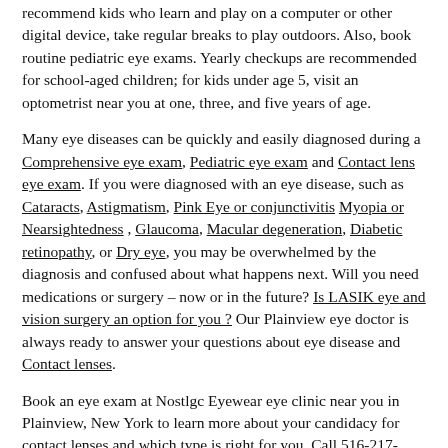recommend kids who learn and play on a computer or other digital device, take regular breaks to play outdoors. Also, book routine pediatric eye exams. Yearly checkups are recommended for school-aged children; for kids under age 5, visit an optometrist near you at one, three, and five years of age.
Many eye diseases can be quickly and easily diagnosed during a Comprehensive eye exam, Pediatric eye exam and Contact lens eye exam. If you were diagnosed with an eye disease, such as Cataracts, Astigmatism, Pink Eye or conjunctivitis Myopia or Nearsightedness , Glaucoma, Macular degeneration, Diabetic retinopathy, or Dry eye, you may be overwhelmed by the diagnosis and confused about what happens next. Will you need medications or surgery – now or in the future? Is LASIK eye and vision surgery an option for you ? Our Plainview eye doctor is always ready to answer your questions about eye disease and Contact lenses.
Book an eye exam at Nostlgc Eyewear eye clinic near you in Plainview, New York to learn more about your candidacy for contact lenses and which type is right for you. Call 516-217-3833
Nostlgc Eyewear, your Plainview eye doctor for